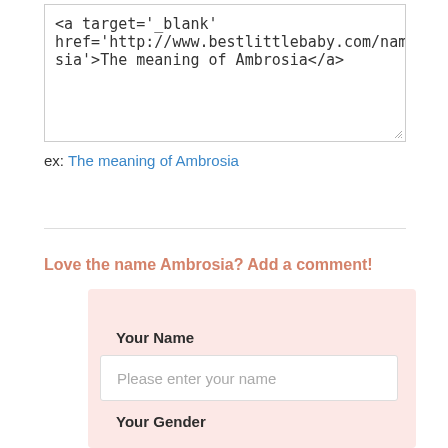<a target='_blank' href='http://www.bestlittlebaby.com/name/girl/ambrosia'>The meaning of Ambrosia</a>
ex: The meaning of Ambrosia
Love the name Ambrosia? Add a comment!
Your Name
Please enter your name
Your Gender